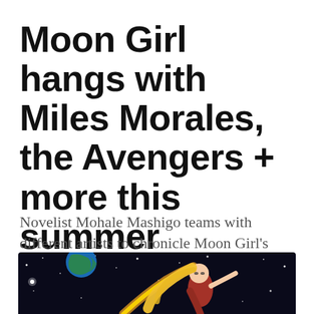Moon Girl hangs with Miles Morales, the Avengers + more this summer
Novelist Mohale Mashigo teams with different artists to chronicle Moon Girl's search for a missing Devil Dinosaur.
[Figure (illustration): Comic book illustration showing a female superhero with long blonde hair flying through space, with Earth visible in the upper left and stars in background]